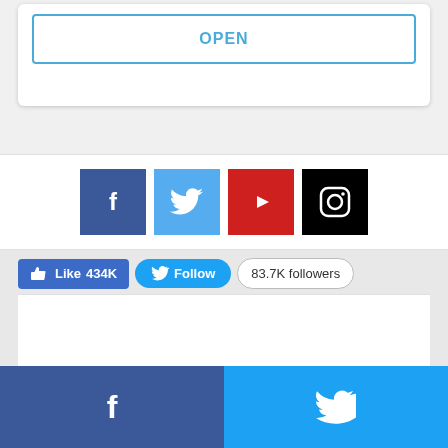[Figure (screenshot): OPEN button with blue border inside a white card on a light gray background]
[Figure (infographic): Social media icons row: Facebook (dark blue), Twitter (light blue), YouTube (red), Instagram (black)]
Like 434K
Follow
83.7K followers
[Figure (screenshot): White content area placeholder]
Facebook and Twitter share buttons footer bar